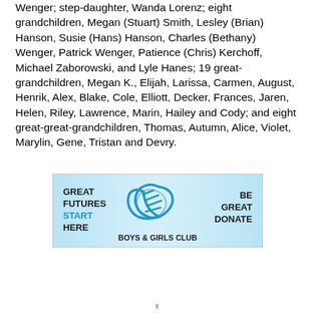Wenger; step-daughter, Wanda Lorenz; eight grandchildren, Megan (Stuart) Smith, Lesley (Brian) Hanson, Susie (Hans) Hanson, Charles (Bethany) Wenger, Patrick Wenger, Patience (Chris) Kerchoff, Michael Zaborowski, and Lyle Hanes; 19 great-grandchildren, Megan K., Elijah, Larissa, Carmen, August, Henrik, Alex, Blake, Cole, Elliott, Decker, Frances, Jaren, Helen, Riley, Lawrence, Marin, Hailey and Cody; and eight great-great-grandchildren, Thomas, Autumn, Alice, Violet, Marylin, Gene, Tristan and Devry.
[Figure (infographic): Boys & Girls Club advertisement with light blue gradient background. Left side reads 'GREAT FUTURES START HERE' with START in blue. Center shows the Boys & Girls Club hands logo in blue. Right side reads 'BE GREAT DONATE'. Bottom center reads 'BOYS & GIRLS CLUB'.]
x